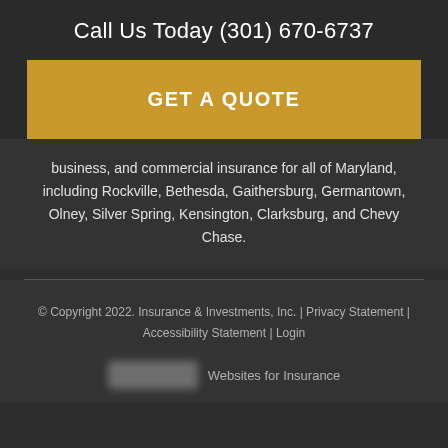Call Us Today (301) 670-6737
GET A QUOTE
business, and commercial insurance for all of Maryland, including Rockville, Bethesda, Gaithersburg, Germantown, Olney, Silver Spring, Kensington, Clarksburg, and Chevy Chase.
© Copyright 2022. Insurance & Investments, Inc. | Privacy Statement | Accessibility Statement | Login
Websites for Insurance